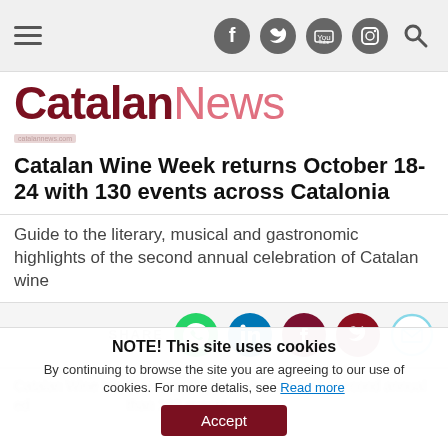Catalan News - navigation bar with hamburger menu and social icons (Facebook, Twitter, YouTube, Instagram, Search)
Catalan News
Catalan Wine Week returns October 18-24 with 130 events across Catalonia
Guide to the literary, musical and gastronomic highlights of the second annual celebration of Catalan wine
[Figure (infographic): SHARE bar with social media icons: WhatsApp (green), LinkedIn (blue), Facebook (dark red), Twitter (dark red), Email (light blue outline)]
Catalan Wine Week returns October 18 to 24 for its second annual ed... than 130 events
NOTE! This site uses cookies
By continuing to browse the site you are agreeing to our use of cookies. For more detalis, see Read more